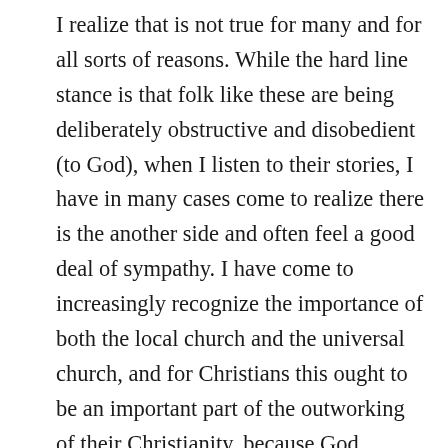I realize that is not true for many and for all sorts of reasons. While the hard line stance is that folk like these are being deliberately obstructive and disobedient (to God), when I listen to their stories, I have in many cases come to realize there is the another side and often feel a good deal of sympathy. I have come to increasingly recognize the importance of both the local church and the universal church, and for Christians this ought to be an important part of the outworking of their Christianity, because God decrees it thus. By “local church”, I refer to gatherings of Christians,